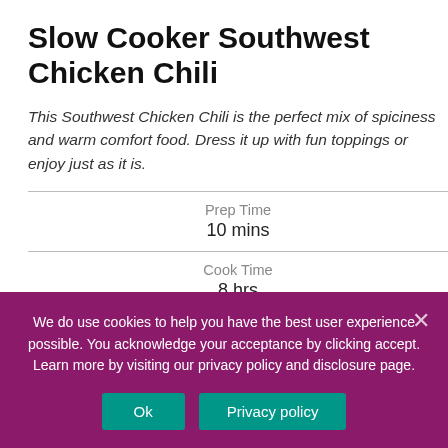Slow Cooker Southwest Chicken Chili
This Southwest Chicken Chili is the perfect mix of spiciness and warm comfort food. Dress it up with fun toppings or enjoy just as it is.
| Label | Value |
| --- | --- |
| Prep Time | 10 mins |
| Cook Time | 8 hrs |
| Total Time | 8 hrs 10 mins |
We do use cookies to help you have the best user experience possible. You acknowledge your acceptance by clicking accept. Learn more by visiting our privacy policy and disclosure page.